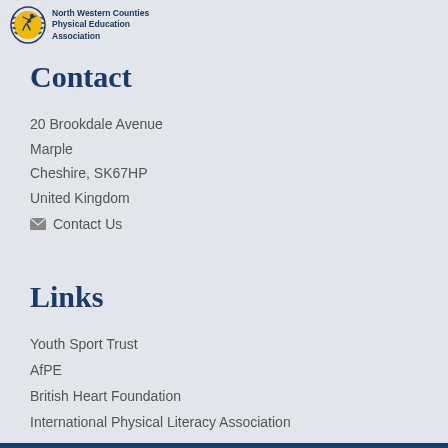[Figure (logo): North Western Counties Physical Education Association logo with emblem and text]
Contact
20 Brookdale Avenue
Marple
Cheshire, SK67HP
United Kingdom
✉ Contact Us
Links
Youth Sport Trust
AfPE
British Heart Foundation
International Physical Literacy Association